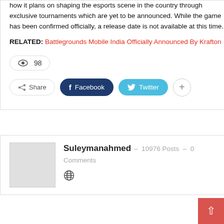how it plans on shaping the esports scene in the country through exclusive tournaments which are yet to be announced. While the game has been confirmed officially, a release date is not available at this time.
RELATED: Battlegrounds Mobile India Officially Announced By Krafton
[Figure (infographic): Views count badge showing eye icon and 98, plus Share / Facebook / Twitter / plus social sharing buttons]
[Figure (infographic): Author card for Suleymanahmed with avatar placeholder, 10976 Posts, 0 Comments, and globe icon]